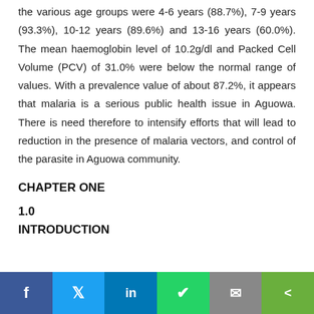the various age groups were 4-6 years (88.7%), 7-9 years (93.3%), 10-12 years (89.6%) and 13-16 years (60.0%). The mean haemoglobin level of 10.2g/dl and Packed Cell Volume (PCV) of 31.0% were below the normal range of values. With a prevalence value of about 87.2%, it appears that malaria is a serious public health issue in Aguowa. There is need therefore to intensify efforts that will lead to reduction in the presence of malaria vectors, and control of the parasite in Aguowa community.
CHAPTER ONE
1.0
INTRODUCTION